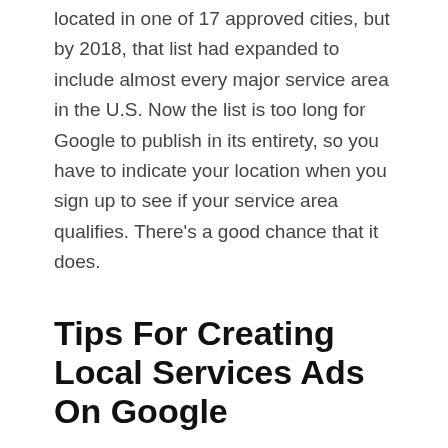located in one of 17 approved cities, but by 2018, that list had expanded to include almost every major service area in the U.S. Now the list is too long for Google to publish in its entirety, so you have to indicate your location when you sign up to see if your service area qualifies. There's a good chance that it does.
Tips For Creating Local Services Ads On Google
Google walks you through all of the steps needed to create your account and profile. You'll need to provide your basic business information as well as your license and insurance numbers. From there, your success will depend on how highly you rate with customers and how well your profile matches what they're looking for. Here are some tips that